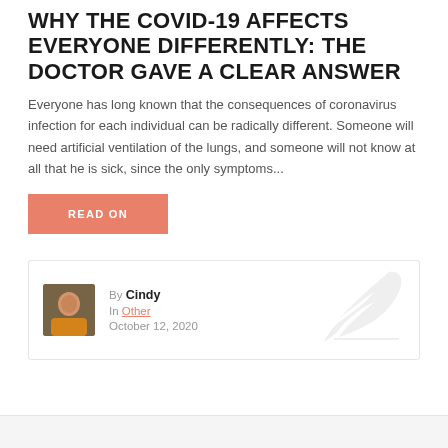WHY THE COVID-19 AFFECTS EVERYONE DIFFERENTLY: THE DOCTOR GAVE A CLEAR ANSWER
Everyone has long known that the consequences of coronavirus infection for each individual can be radically different. Someone will need artificial ventilation of the lungs, and someone will not know at all that he is sick, since the only symptoms...
READ ON
By Cindy
In Other
October 12, 2020